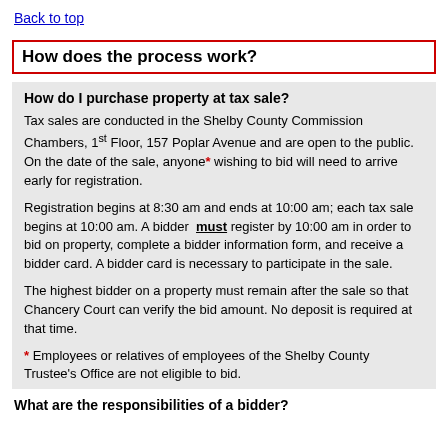Back to top
How does the process work?
How do I purchase property at tax sale?
Tax sales are conducted in the Shelby County Commission Chambers, 1st Floor, 157 Poplar Avenue and are open to the public. On the date of the sale, anyone* wishing to bid will need to arrive early for registration.
Registration begins at 8:30 am and ends at 10:00 am; each tax sale begins at 10:00 am. A bidder must register by 10:00 am in order to bid on property, complete a bidder information form, and receive a bidder card. A bidder card is necessary to participate in the sale.
The highest bidder on a property must remain after the sale so that Chancery Court can verify the bid amount. No deposit is required at that time.
* Employees or relatives of employees of the Shelby County Trustee's Office are not eligible to bid.
What are the responsibilities of a bidder?